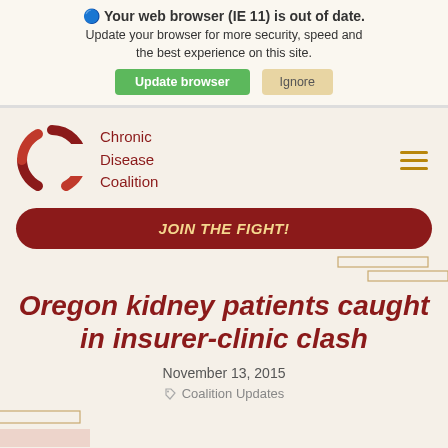Your web browser (IE 11) is out of date. Update your browser for more security, speed and the best experience on this site. Update browser | Ignore
[Figure (logo): Chronic Disease Coalition logo — a red arc/C shape with text 'Chronic Disease Coalition' beside it]
JOIN THE FIGHT!
Oregon kidney patients caught in insurer-clinic clash
November 13, 2015
Coalition Updates